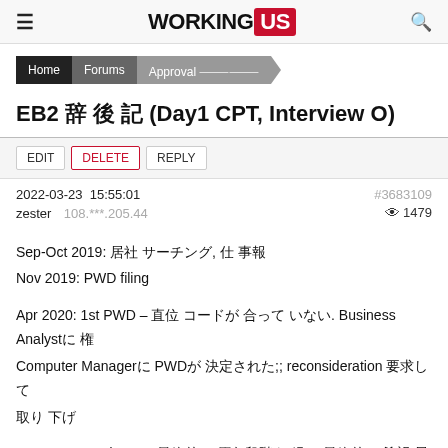WORKING US
Home  Forums  Approval
EB2 승인 후기 (Day1 CPT, Interview O)
EDIT  DELETE  REPLY
2022-03-23  15:55:01    #3683109
zester  108.***.205.44    👁 1479
Sep-Oct 2019: 회사 서칭, 잡 오퍼
Nov 2019: PWD filing

Apr 2020: 1st PWD – 직위 코드가 맞지 않음. Business Analyst에 대 Computer Manager로 PWD가 결정됨;; reconsideration 요청하여 취하 완료

June 2020: 2nd PWD. 여러 단계를 거쳐서 최종적으로 원하던 직위로 결정 됨